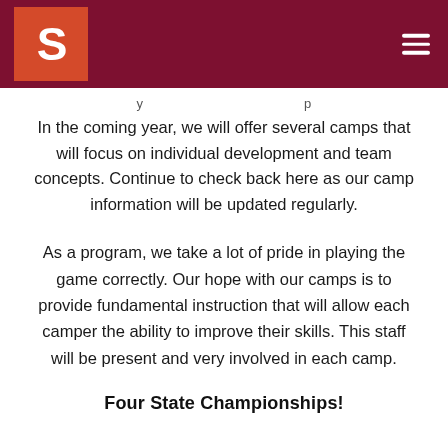S (logo) — navigation header
In the coming year, we will offer several camps that will focus on individual development and team concepts. Continue to check back here as our camp information will be updated regularly.
As a program, we take a lot of pride in playing the game correctly. Our hope with our camps is to provide fundamental instruction that will allow each camper the ability to improve their skills. This staff will be present and very involved in each camp.
Four State Championships!